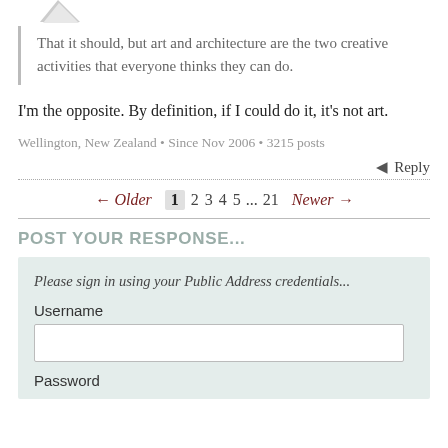That it should, but art and architecture are the two creative activities that everyone thinks they can do.
I'm the opposite. By definition, if I could do it, it's not art.
Wellington, New Zealand • Since Nov 2006 • 3215 posts
Reply
← Older 1 2 3 4 5 ... 21 Newer →
POST YOUR RESPONSE...
Please sign in using your Public Address credentials...
Username
Password